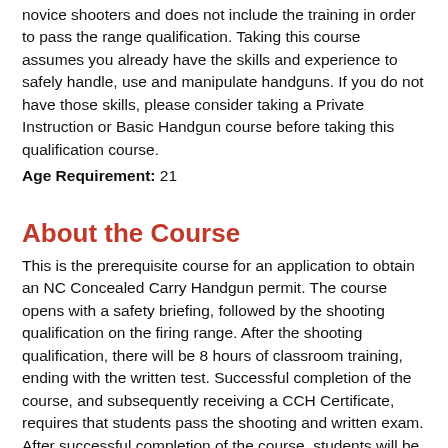novice shooters and does not include the training in order to pass the range qualification. Taking this course assumes you already have the skills and experience to safely handle, use and manipulate handguns. If you do not have those skills, please consider taking a Private Instruction or Basic Handgun course before taking this qualification course.
Age Requirement: 21
About the Course
This is the prerequisite course for an application to obtain an NC Concealed Carry Handgun permit. The course opens with a safety briefing, followed by the shooting qualification on the firing range. After the shooting qualification, there will be 8 hours of classroom training, ending with the written test. Successful completion of the course, and subsequently receiving a CCH Certificate, requires that students pass the shooting and written exam. After successful completion of the course, students will be able to apply for their NC CCH permit with their respective county's Sheriff's Office.
Shooting Qualification